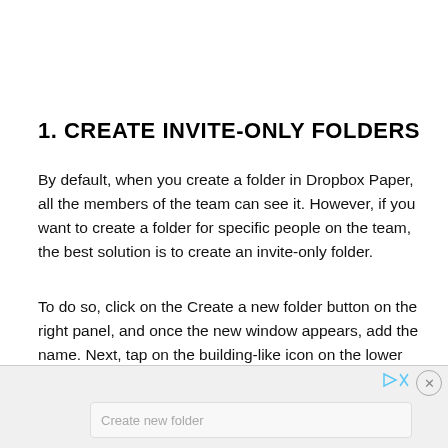1. CREATE INVITE-ONLY FOLDERS
By default, when you create a folder in Dropbox Paper, all the members of the team can see it. However, if you want to create a folder for specific people on the team, the best solution is to create an invite-only folder.
To do so, click on the Create a new folder button on the right panel, and once the new window appears, add the name. Next, tap on the building-like icon on the lower ribbon, and select Invite-only.
[Figure (screenshot): Screenshot showing a UI with a 'Create new folder' input field, ad controls (play and close buttons), and a close button in the top right corner.]